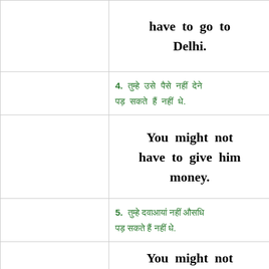have to go to Delhi.
4. [Hindi text] .
You might not have to give him money.
5. [Hindi text] .
You might not have to take medicine.